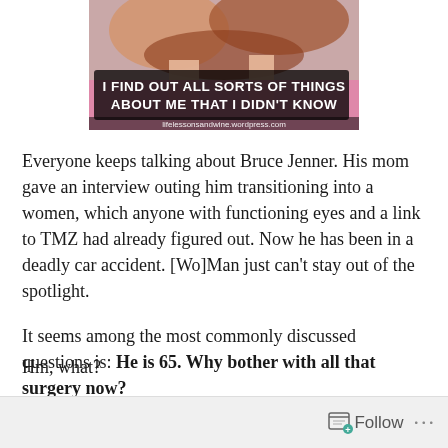[Figure (photo): Meme image showing hands near someone's hair, with bold white text overlay: 'I FIND OUT ALL SORTS OF THINGS ABOUT ME THAT I DIDN'T KNOW', watermark 'lifelessonsandwine.wordpress.com']
Everyone keeps talking about Bruce Jenner. His mom gave an interview outing him transitioning into a women, which anyone with functioning eyes and a link to TMZ had already figured out. Now he has been in a deadly car accident. [Wo]Man just can't stay out of the spotlight.
It seems among the most commonly discussed questions is: He is 65. Why bother with all that surgery now?
Hm, what?
Follow ···